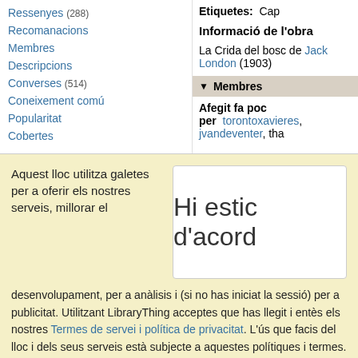Ressenyes (288)
Recomanacions
Membres
Descripcions
Converses (514)
Coneixement comú
Popularitat
Cobertes
Etiquetes: Cap
Informació de l'obra
La Crida del bosc de Jack London (1903)
▼ Membres
Afegit fa poc per torontoxavieres, jvandeventer, tha
Aquest lloc utilitza galetes per a oferir els nostres serveis, millorar el desenvolupament, per a anàlisis i (si no has iniciat la sessió) per a publicitat. Utilitzant LibraryThing acceptes que has llegit i entès els nostres Termes de servei i política de privacitat. L'ús que facis del lloc i dels seus serveis està subjecte a aquestes polítiques i termes.
Hi estic d'acord